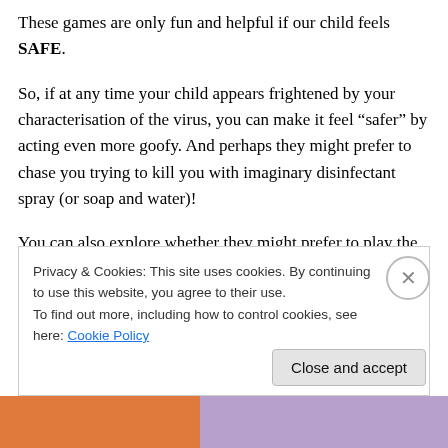These games are only fun and helpful if our child feels SAFE.
So, if at any time your child appears frightened by your characterisation of the virus, you can make it feel “safer” by acting even more goofy. And perhaps they might prefer to chase you trying to kill you with imaginary disinfectant spray (or soap and water)!
You can also explore whether they might prefer to play the “scary” virus themselves, chasing you as you run away scared! And maybe “inviting” them to push you over onto a
Privacy & Cookies: This site uses cookies. By continuing to use this website, you agree to their use.
To find out more, including how to control cookies, see here: Cookie Policy
Close and accept